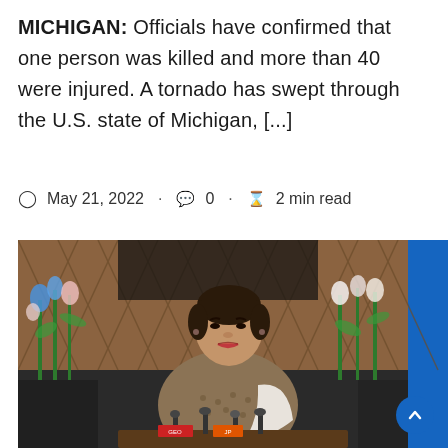MICHIGAN: Officials have confirmed that one person was killed and more than 40 were injured. A tornado has swept through the U.S. state of Michigan, [...]
May 21, 2022 · 0 · 2 min read
[Figure (photo): A woman speaking at a press conference or public event, standing at a podium with multiple microphones. She is wearing a patterned jacket and a white shawl. Behind her is a decorative lattice backdrop with flowers including blue and white blooms. The right side of the image shows a blue banner/panel.]